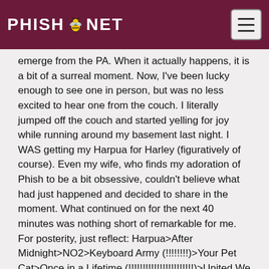PHISH.NET
emerge from the PA. When it actually happens, it is a bit of a surreal moment. Now, I've been lucky enough to see one in person, but was no less excited to hear one from the couch. I literally jumped off the couch and started yelling for joy while running around my basement last night. I WAS getting my Harpua for Harley (figuratively of course). Even my wife, who finds my adoration of Phish to be a bit obsessive, couldn't believe what had just happened and decided to share in the moment. What continued on for the next 40 minutes was nothing short of remarkable for me. For posterity, just reflect: Harpua>After Midnight>NO2>Keyboard Army (!!!!!!!!)>Your Pet Cat>Once in a Lifetime (!!!!!!!!!!!!!!!!!!!!!!!)>United We Stand. Yeah people, that is pretty absurd.
Typically I am not one to try and find higher meaning in Phish shows. I go, watch, listen because the music is the higher meaning for me. It's always been that way